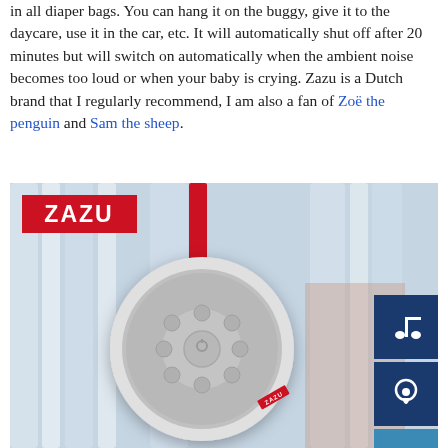in all diaper bags. You can hang it on the buggy, give it to the daycare, use it in the car, etc. It will automatically shut off after 20 minutes but will switch on automatically when the ambient noise becomes too loud or when your baby is crying. Zazu is a Dutch brand that I regularly recommend, I am also a fan of Zoë the penguin and Sam the sheep.
[Figure (photo): Photo of a Zazu branded white round portable sound machine with red hanging strap, shown hanging on white crib bars. The Zazu logo appears in a red badge top-left. Two dark blue icon buttons visible on the right side (music note and touch icons). Small red Zazu label on the speaker itself.]